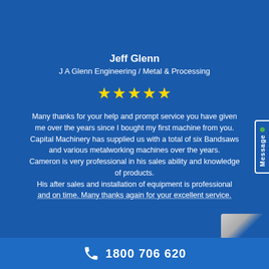Jeff Glenn
J A Glenn Engineering / Metal & Processing
[Figure (illustration): Five gold star rating icons]
Many thanks for your help and prompt service you have given me over the years since I bought my first machine from you. Capital Machinery has supplied us with a total of six Bandsaws and various metalworking machines over the years. Cameron is very professional in his sales ability and knowledge of products. His after sales and installation of equipment is professional and on time. Many thanks again for your excellent service.
1800 706 620